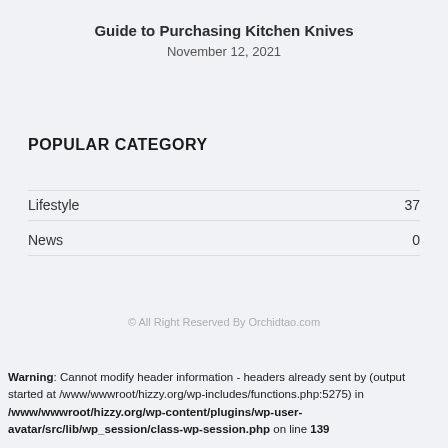Guide to Purchasing Kitchen Knives
November 12, 2021
POPULAR CATEGORY
Lifestyle  37
News  0
© All Right Reserved By Orchidtao.com
Warning: Cannot modify header information - headers already sent by (output started at /www/wwwroot/hizzy.org/wp-includes/functions.php:5275) in /www/wwwroot/hizzy.org/wp-content/plugins/wp-user-avatar/src/lib/wp_session/class-wp-session.php on line 139